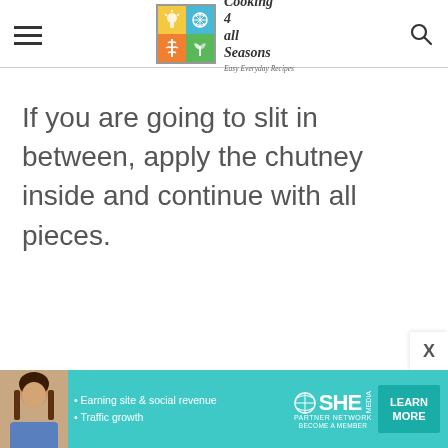Cooking 4 all Seasons — Easy Everyday Recipes
If you are going to slit in between, apply the chutney inside and continue with all pieces.
[Figure (infographic): Advertisement banner for SHE PARTNER NETWORK. Features a woman photo on the left, bullet points: Earning site & social revenue, Traffic growth. SHE logo with globe icon. LEARN MORE button.]